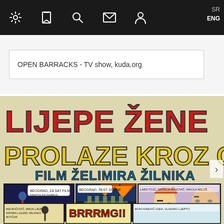Navigation bar with settings, bookmark, search, mail, user icons and SR / ENG language toggle
OPEN BARRACKS - TV show, kuda.org
[Figure (illustration): Comic book style movie poster for 'Lijepe Žene Prolaze Kroz Grad' (Beautiful Women Pass Through the City), film by Želimir Žilnik. Large bold red and yellow lettering at top, blue subtitle text. Below the title are comic strip panels showing stylized figures in a nightclub scene, an exploding building, and character close-ups.]